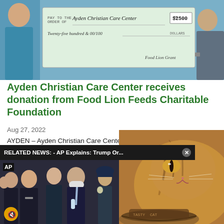[Figure (photo): Photo of two people holding a large ceremonial check made out to Ayden Christian Care Center for $2,500.00, Twenty-five hundred & 00/100 dollars, Food Lion Grant]
Ayden Christian Care Center receives donation from Food Lion Feeds Charitable Foundation
Aug 27, 2022
AYDEN – Ayden Christian Care Center received a $2,500 donation from [Food Lion Feeds Charitable Foundation] to help feed people in their [community. The grant will help] to provide food supplements [for] southern Pitt County.
[Figure (screenshot): Related news banner overlay: RELATED NEWS: - AP Explains: Trump Or... with close button]
[Figure (photo): AP video screenshot showing a group of people including a man in a mask and blue tie, women in dark clothing, and a police officer in background]
[Figure (photo): Close-up photo of a tabby cat looking toward the camera with a food bowl in foreground]